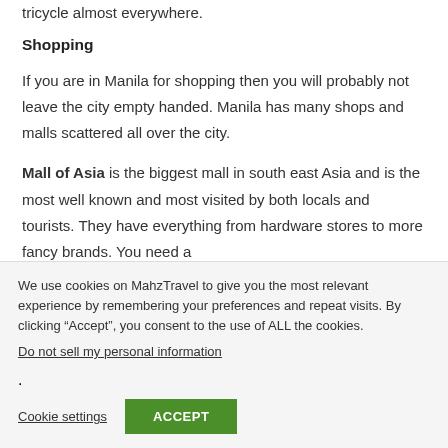tricycle almost everywhere.
Shopping
If you are in Manila for shopping then you will probably not leave the city empty handed. Manila has many shops and malls scattered all over the city.
Mall of Asia is the biggest mall in south east Asia and is the most well known and most visited by both locals and tourists. They have everything from hardware stores to more fancy brands. You need a
We use cookies on MahzTravel to give you the most relevant experience by remembering your preferences and repeat visits. By clicking “Accept”, you consent to the use of ALL the cookies.
Do not sell my personal information.
Cookie settings
ACCEPT